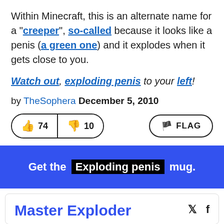Within Minecraft, this is an alternate name for a "creeper", so-called because it looks like a penis (a green one) and it explodes when it gets close to you.
Watch out, exploding penis to your left!
by TheSophera December 5, 2010
[Figure (other): Vote buttons: thumbs up 74, thumbs down 10, and FLAG button]
Get the Exploding penis mug.
Master Exploder